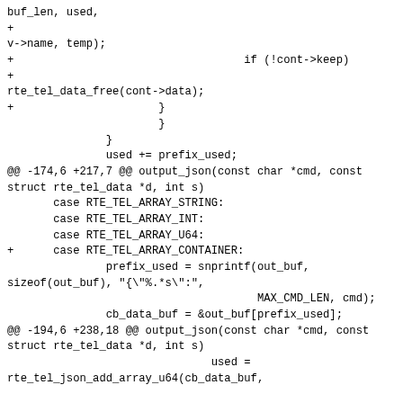buf_len, used,
+
v->name, temp);
+                                   if (!cont->keep)
+
rte_tel_data_free(cont->data);
+                      }
                       }
               }
               used += prefix_used;
@@ -174,6 +217,7 @@ output_json(const char *cmd, const struct rte_tel_data *d, int s)
       case RTE_TEL_ARRAY_STRING:
       case RTE_TEL_ARRAY_INT:
       case RTE_TEL_ARRAY_U64:
+      case RTE_TEL_ARRAY_CONTAINER:
               prefix_used = snprintf(out_buf,
sizeof(out_buf), "{\"%.*/s\":",
                                      MAX_CMD_LEN, cmd);
               cb_data_buf = &out_buf[prefix_used];
@@ -194,6 +238,18 @@ output_json(const char *cmd, const struct rte_tel_data *d, int s)
                               used =
rte_tel_json_add_array_u64(cb_data_buf,

buf_len, used,
                                                         d-
>data.array[i].u64val);
+              else if (d->type ==
RTE_TEL_ARRAY_CONTAINER) {